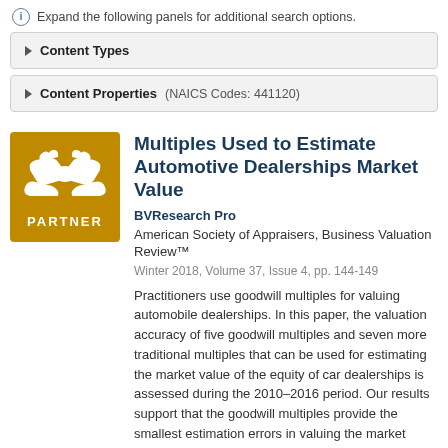Expand the following panels for additional search options.
Content Types
Content Properties (NAICS Codes: 441120)
[Figure (logo): Gold/amber square logo with two white handshake hands and the word PARTNER below in white text on amber background]
Multiples Used to Estimate Automotive Dealerships Market Value
BVResearch Pro
American Society of Appraisers, Business Valuation Review™
Winter 2018, Volume 37, Issue 4, pp. 144-149
Practitioners use goodwill multiples for valuing automobile dealerships. In this paper, the valuation accuracy of five goodwill multiples and seven more traditional multiples that can be used for estimating the market value of the equity of car dealerships is assessed during the 2010–2016 period. Our results support that the goodwill multiples provide the smallest estimation errors in valuing the market